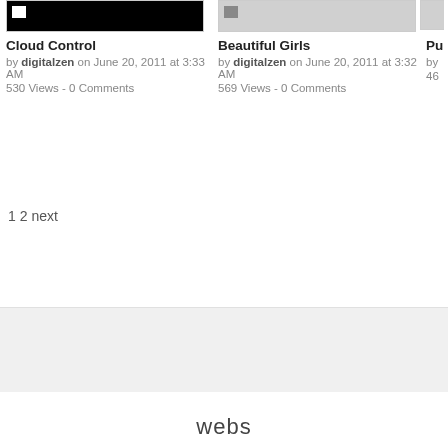[Figure (screenshot): Thumbnail image for Cloud Control, dark/black background with small icon]
Cloud Control
by digitalzen on June 20, 2011 at 3:33 AM
530 Views - 0 Comments
[Figure (screenshot): Thumbnail image for Beautiful Girls, gray background with small icon]
Beautiful Girls
by digitalzen on June 20, 2011 at 3:32 AM
569 Views - 0 Comments
[Figure (screenshot): Partial thumbnail for third item, partially visible]
Pu
by
46
1 2 next
webs